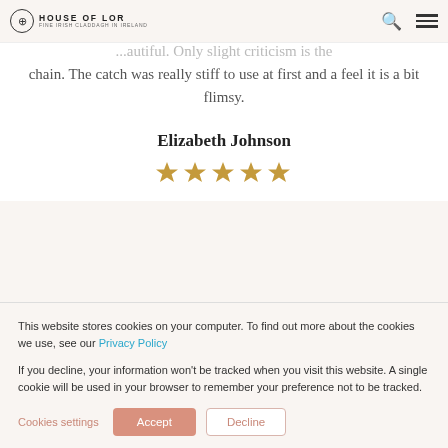House of Lor
...autiful. Only slight criticism is the chain. The catch was really stiff to use at first and a feel it is a bit flimsy.
Elizabeth Johnson
[Figure (other): Five gold stars rating]
This website stores cookies on your computer. To find out more about the cookies we use, see our Privacy Policy
If you decline, your information won't be tracked when you visit this website. A single cookie will be used in your browser to remember your preference not to be tracked.